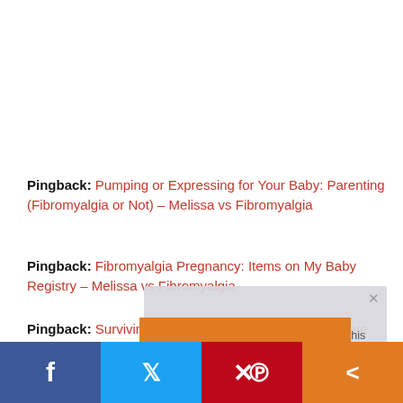Pingback: Pumping or Expressing for Your Baby: Parenting (Fibromyalgia or Not) – Melissa vs Fibromyalgia
Pingback: Fibromyalgia Pregnancy: Items on My Baby Registry – Melissa vs Fibromyalgia
Pingback: Surviving the Newborn Period and Baby Care Help and medical aid
[Figure (screenshot): Video player overlay showing 'No compatible source was found for this' error message in gray box with orange bar below]
Social share bar with Facebook, Twitter, Pinterest, and Share buttons